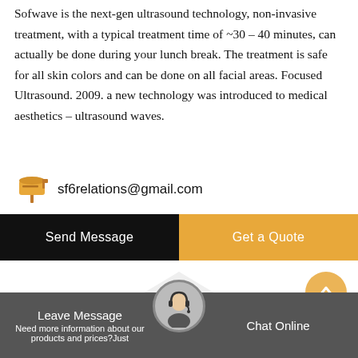Sofwave is the next-gen ultrasound technology, non-invasive treatment, with a typical treatment time of ~30 – 40 minutes, can actually be done during your lunch break. The treatment is safe for all skin colors and can be done on all facial areas. Focused Ultrasound. 2009. a new technology was introduced to medical aesthetics – ultrasound waves.
sf6relations@gmail.com
Send Message
Get a Quote
Stay Touch With Us
Leave Message  Chat Online  Need more information about our products and prices?Just